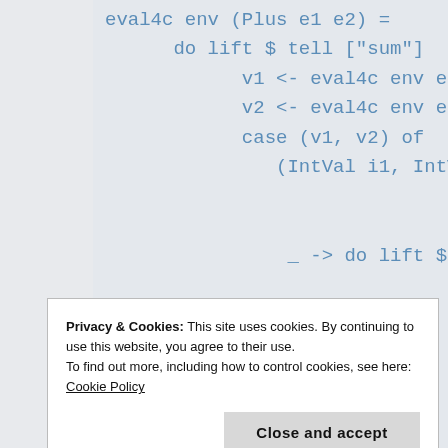eval4c env (Plus e1 e2) =
    do lift $ tell ["sum"]
            v1 <- eval4c env e1
            v2 <- eval4c env e2
            case (v1, v2) of
               (IntVal i1, IntVal i2) ->


                _ -> do lift $ tell ["sum
Privacy & Cookies: This site uses cookies. By continuing to use this website, you agree to their use.
To find out more, including how to control cookies, see here: Cookie Policy
Close and accept
eval4c env (App lambda exp)